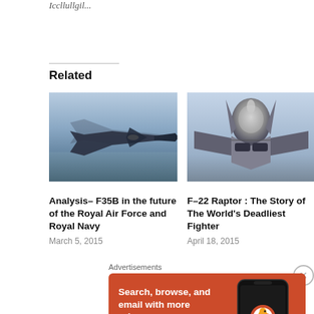Iccllullgil...
Related
[Figure (photo): F-35B fighter jet in flight over water, gray sky background]
[Figure (photo): F-22 Raptor front view close-up on aircraft carrier deck]
Analysis– F35B in the future of the Royal Air Force and Royal Navy
March 5, 2015
F–22 Raptor : The Story of The World's Deadliest Fighter
April 18, 2015
Advertisements
[Figure (screenshot): DuckDuckGo advertisement: Search, browse, and email with more privacy. All in One Free App. Shows a phone with DuckDuckGo logo.]